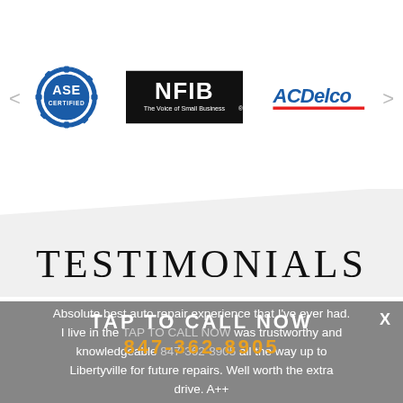[Figure (logo): ASE Certified logo - blue gear with ASE CERTIFIED text]
[Figure (logo): NFIB - The Voice of Small Business logo, black rectangle]
[Figure (logo): ACDelco logo in blue with red underline]
TESTIMONIALS
TAP TO CALL NOW
847-362-8905
Absolute best auto repair experience that I've ever had. I live in the Far Out Nob... was trustworthy and knowledgeable... all the way up to Libertyville for future repairs. Well worth the extra drive. A++
X